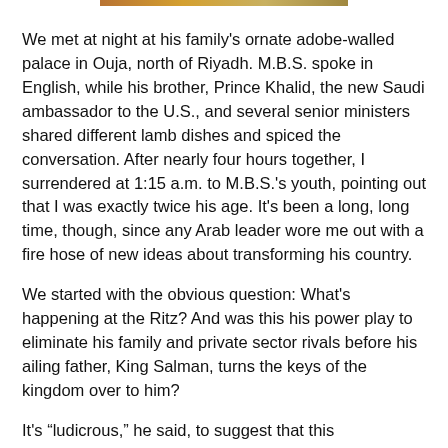[Figure (other): Partial image strip at the top of the page, showing a cropped colorful image bar]
We met at night at his family's ornate adobe-walled palace in Ouja, north of Riyadh. M.B.S. spoke in English, while his brother, Prince Khalid, the new Saudi ambassador to the U.S., and several senior ministers shared different lamb dishes and spiced the conversation. After nearly four hours together, I surrendered at 1:15 a.m. to M.B.S.'s youth, pointing out that I was exactly twice his age. It's been a long, long time, though, since any Arab leader wore me out with a fire hose of new ideas about transforming his country.
We started with the obvious question: What's happening at the Ritz? And was this his power play to eliminate his family and private sector rivals before his ailing father, King Salman, turns the keys of the kingdom over to him?
It's “ludicrous,” he said, to suggest that this anticorruption campaign was a power grab. He pointed out that many prominent members of the Ritz crowd had already publicly pledged allegiance to him and his reforms, and that “a majority of the royal family” is already behind him. This is